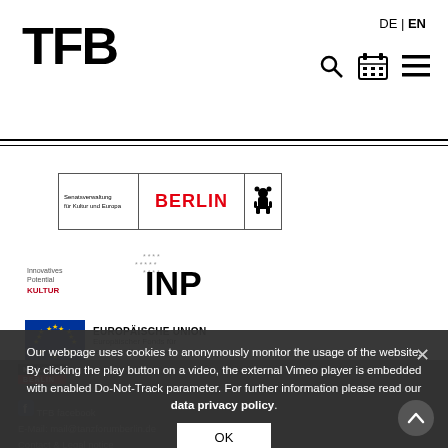[Figure (logo): TFB logo — thick bold letters T, F, B in black]
DE | EN
[Figure (logo): Search icon, calendar icon, hamburger menu icon]
[Figure (logo): Senatsverwaltung für Kultur und Europa | BERLIN | Berlin bear logo]
[Figure (logo): Innovatives Potential KULTUR INP logo with EU stars]
[Figure (logo): EUROPÄISCHE UNION — Europäischer Fonds für regionale Entwicklung, with EU flag]
[Figure (logo): KULTUR BERLIN dark logo in footer]
Our webpage uses cookies to anonymously monitor the usage of the website. By clicking the play button on a video, the external Vimeo player is embedded with enabled Do-Not-Track parameter. For further information please read our data privacy policy.
OK
TFB facebook
E-Mail: mail@tanzforumberlin.de
Contact & Legal notice